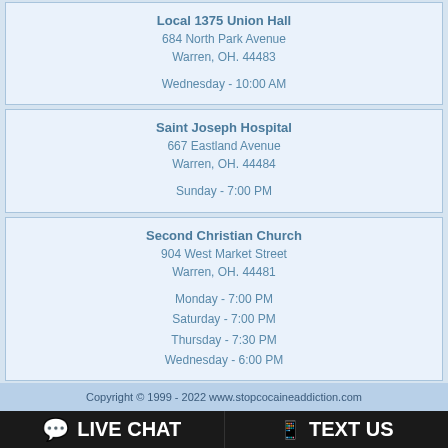Local 1375 Union Hall
684 North Park Avenue
Warren, OH. 44483

Wednesday - 10:00 AM
Saint Joseph Hospital
667 Eastland Avenue
Warren, OH. 44484

Sunday - 7:00 PM
Second Christian Church
904 West Market Street
Warren, OH. 44481

Monday - 7:00 PM
Saturday - 7:00 PM
Thursday - 7:30 PM
Wednesday - 6:00 PM
Copyright © 1999 - 2022 www.stopcocaineaddiction.com
LIVE CHAT
TEXT US